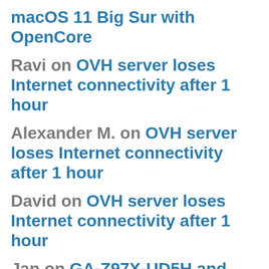macOS 11 Big Sur with OpenCore
Ravi on OVH server loses Internet connectivity after 1 hour
Alexander M. on OVH server loses Internet connectivity after 1 hour
David on OVH server loses Internet connectivity after 1 hour
Jan on GA-Z97X-UD5H and macOS 11 Big Sur with OpenCore
John on GA-Z97X-UD5H and macOS 11 Big Sur with OpenCore
Bw on GA-Z97X-UD5H and macOS 11 Big Sur with OpenCore